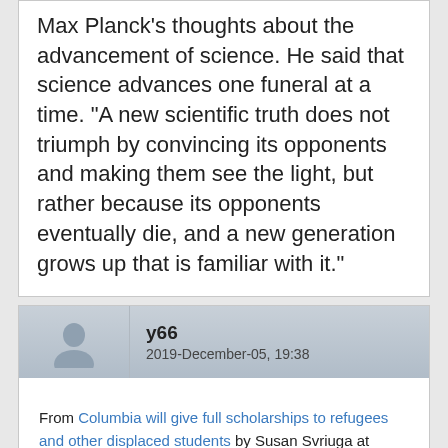Max Planck's thoughts about the advancement of science. He said that science advances one funeral at a time. "A new scientific truth does not triumph by convincing its opponents and making them see the light, but rather because its opponents eventually die, and a new generation grows up that is familiar with it."
y66
2019-December-05, 19:38
From Columbia will give full scholarships to refugees and other displaced students by Susan Svriuga at WaPo:
Quote
When Warda Sahtout was helping children in Syria during that country's civil war, she asked them to draw their dreams, what they hoped to be when they grew up. Almost every child sketched weapons, she said, and military uniforms and blood: They could only imagine being fighters.
She wasn't sure what her own future would hold; she had a degree in economics but turned to field work to help because of the devastation